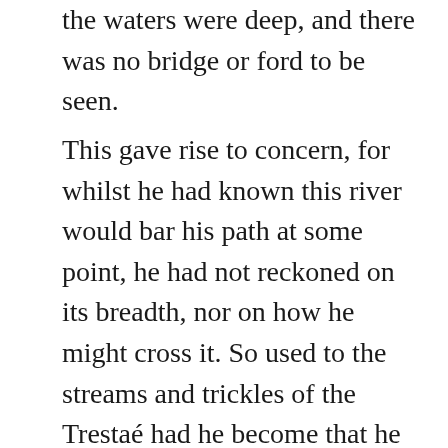the waters were deep, and there was no bridge or ford to be seen.
This gave rise to concern, for whilst he had known this river would bar his path at some point, he had not reckoned on its breadth, nor on how he might cross it. So used to the streams and trickles of the Trestaé had he become that he had forgotten that greater rivers ran through the lands of Thaeìn. He looked up and down the flow of water, and considered his options. He could follow the river downstream, of course, to where it presumably met the sea. Here, perhaps, it might become shallower and